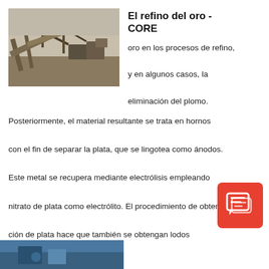[Figure (photo): Industrial mining/refining machinery with conveyor belts and cranes at an outdoor facility]
El refino del oro - CORE
oro en los procesos de refino, y en algunos casos, la eliminación del plomo.
Posteriormente, el material resultante se trata en hornos con el fin de separar la plata, que se lingotea como ánodos. Este metal se recupera mediante electrólisis empleando nitrato de plata como electrólito. El procedimiento de obtención de plata hace que también se obtengan lodos anódicos que
[Figure (illustration): Red speech/chat icon box with document icon on white]
[Figure (photo): Partial view of another industrial/mining scene at bottom of page]